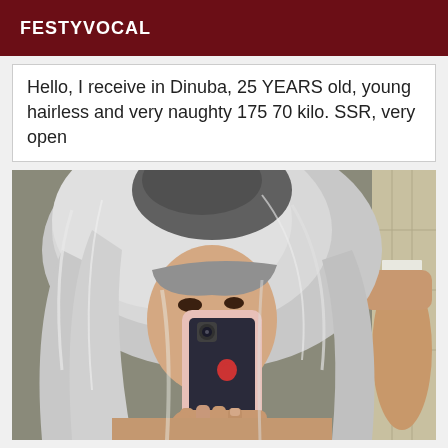FESTYVOCAL
Hello, I receive in Dinuba, 25 YEARS old, young hairless and very naughty 175 70 kilo. SSR, very open
[Figure (photo): Person with silver/white hair taking a mirror selfie with a pink smartphone in what appears to be a bathroom]